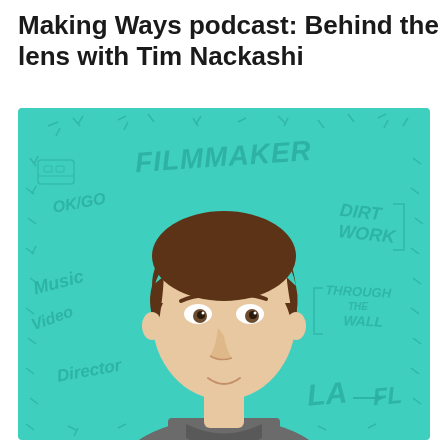Making Ways podcast: Behind the lens with Tim Nackashi
[Figure (illustration): Illustrated portrait of Tim Nackashi on a teal/turquoise background with hand-drawn text labels including: FILMMAKER, DIRT WORK, THROUGH THE WALL, Music Video Director, OK GO, LA, FL. The portrait shows a young man with brown hair wearing a dark grey t-shirt.]